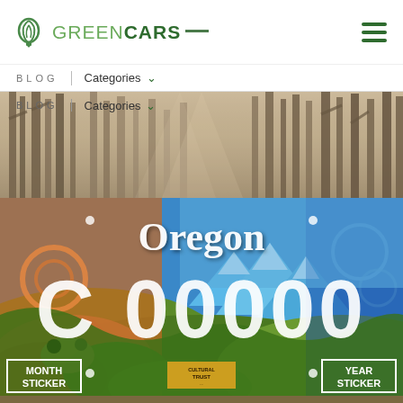[Figure (screenshot): GreenCars website header with green leaf logo, GREENCARS text with horizontal dash, and hamburger menu icon on the right]
[Figure (screenshot): Website navigation bar with BLOG text, vertical separator, and Categories dropdown with green chevron]
[Figure (photo): Sepia-toned misty forest with tall conifers, fog filtering through trees, panoramic banner image]
[Figure (photo): Oregon specialty license plate with colorful mural artwork depicting mountains, valleys, cultural imagery. Plate shows 'Oregon' at top, 'C 00000' as sample plate number, MONTH STICKER box lower left, YEAR STICKER box lower right, Cultural Trust logo at bottom center]
[Figure (photo): Partial view of a third image at the very bottom of the page, appears to be another outdoor scene]